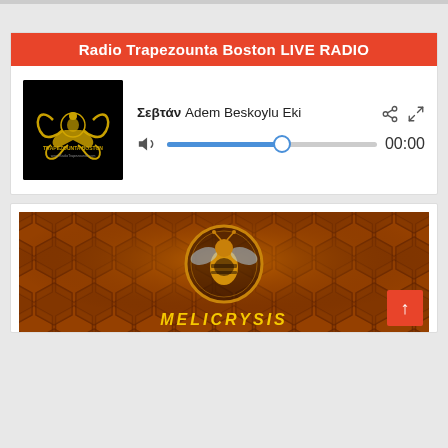Radio Trapezounta Boston LIVE RADIO
[Figure (screenshot): Radio Trapezounta Boston logo - black background with golden decorative bird/phoenix design and text]
Σεβτάν Adem Beskoylu Eki
00:00
[Figure (photo): Honeycomb pattern background with a bee logo in a circular golden emblem, and partial text reading MELICRYSIS at the bottom]